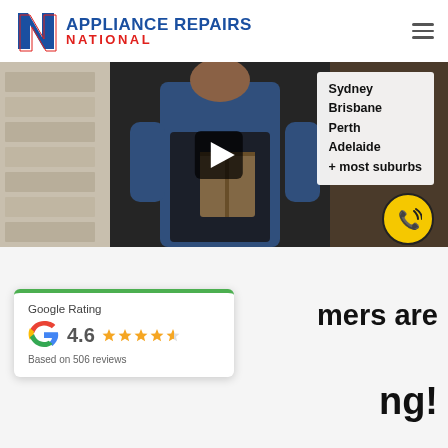[Figure (logo): Appliance Repairs National logo with blue N icon and text]
[Figure (screenshot): Video thumbnail showing a technician carrying a package, with overlay text listing Sydney, Brisbane, Perth, Adelaide + most suburbs, a phone icon circle, and a play button]
Google Rating
4.6
Based on 506 reviews